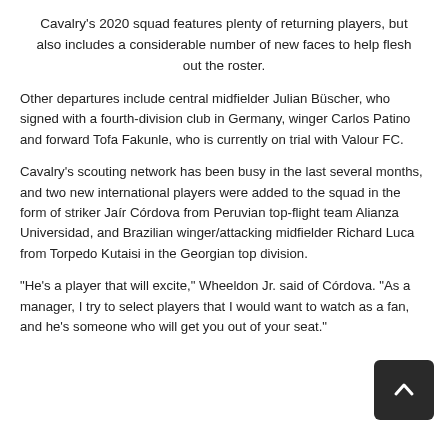Cavalry's 2020 squad features plenty of returning players, but also includes a considerable number of new faces to help flesh out the roster.
Other departures include central midfielder Julian Büscher, who signed with a fourth-division club in Germany, winger Carlos Patino and forward Tofa Fakunle, who is currently on trial with Valour FC.
Cavalry's scouting network has been busy in the last several months, and two new international players were added to the squad in the form of striker Jaír Córdova from Peruvian top-flight team Alianza Universidad, and Brazilian winger/attacking midfielder Richard Luca from Torpedo Kutaisi in the Georgian top division.
“He’s a player that will excite,” Wheeldon Jr. said of Córdova. “As a manager, I try to select players that I would want to watch as a fan, and he’s someone who will get you out of your seat.”